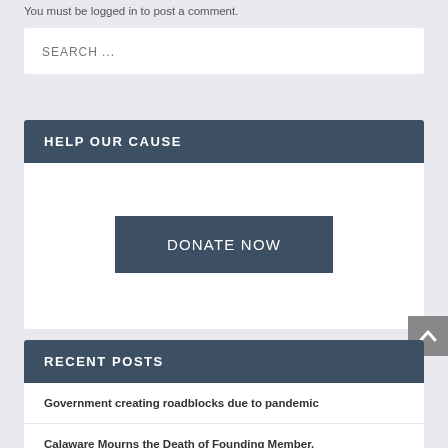You must be logged in to post a comment.
SEARCH ...
HELP OUR CAUSE
DONATE NOW
RECENT POSTS
Government creating roadblocks due to pandemic
Calaware Mourns the Death of Founding Member, Tim C...